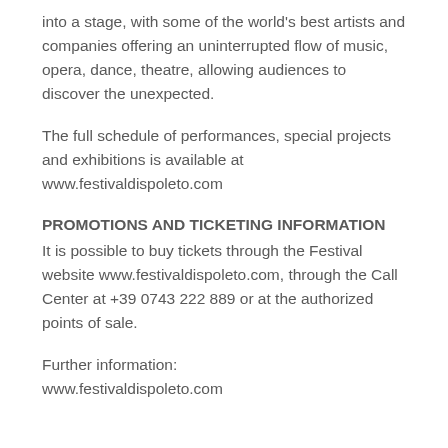into a stage, with some of the world's best artists and companies offering an uninterrupted flow of music, opera, dance, theatre, allowing audiences to discover the unexpected.
The full schedule of performances, special projects and exhibitions is available at www.festivaldispoleto.com
PROMOTIONS AND TICKETING INFORMATION
It is possible to buy tickets through the Festival website www.festivaldispoleto.com, through the Call Center at +39 0743 222 889 or at the authorized points of sale.
Further information:
www.festivaldispoleto.com